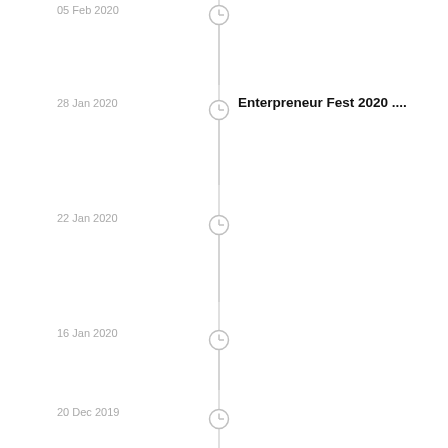05 Feb 2020 ....
28 Jan 2020 Enterpreneur Fest 2020 ....
22 Jan 2020 ....
16 Jan 2020 ....
20 Dec 2019 ....
02 Dec 2019 ....
28 Nov 2019 ....
19 Nov 2019 , ....
13 Nov 2019 ....
13 Nov 2019 ....